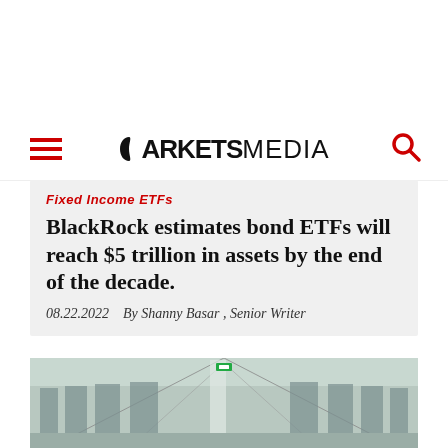MARKETSMEDIA
Fixed Income ETFs
BlackRock estimates bond ETFs will reach $5 trillion in assets by the end of the decade.
08.22.2022   By Shanny Basar , Senior Writer
[Figure (photo): Interior corridor of a modern building with large windows and ceiling panels, viewed in perspective]